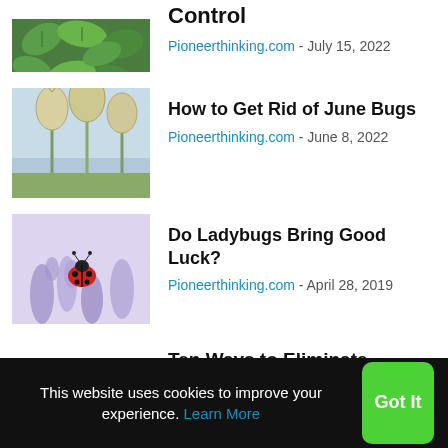[Figure (photo): Green leafy plant (mint/herb), cropped at top]
Control
Pioneerthinking.com - July 15, 2022
[Figure (photo): Thistles with spiky dried flower heads against a sky background]
How to Get Rid of June Bugs
Pioneerthinking.com - June 8, 2022
[Figure (photo): Ladybug on purple/lavender flowers]
Do Ladybugs Bring Good Luck?
Pioneerthinking.com - April 28, 2019
[Figure (photo): Insect on dark background, partially cropped at bottom]
Ten Ways to Eliminate Mosquitoes
This website uses cookies to improve your experience. Learn More